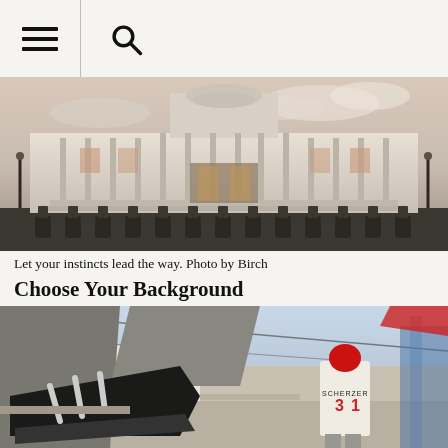☰ 🔍
[Figure (photo): Wide shot of the US Capitol building at dusk with a row of police motorcycles lined up in front on the plaza. Officers in riot gear stand beside the bikes. Pastel sky with clouds in background.]
Let your instincts lead the way. Photo by Birch
Choose Your Background
[Figure (photo): Low-angle action photo showing legs and sneakers of a person jumping or running in the foreground (wearing gray pants and black Adidas shoes), with a baseball player wearing jersey number 31 visible in the background at a stadium.]